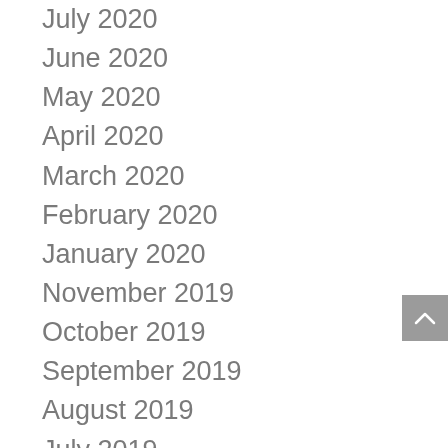July 2020
June 2020
May 2020
April 2020
March 2020
February 2020
January 2020
November 2019
October 2019
September 2019
August 2019
July 2019
May 2019
April 2019